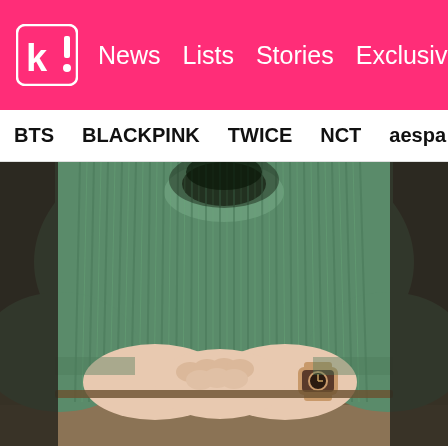k! News Lists Stories Exclusives
BTS BLACKPINK TWICE NCT aespa Girls' Generation
[Figure (photo): Person wearing a green ribbed knit sweater, hands clasped together resting on a wooden surface, wearing a rose gold watch on the right wrist. Photo is cropped to show torso and hands only, no face visible.]